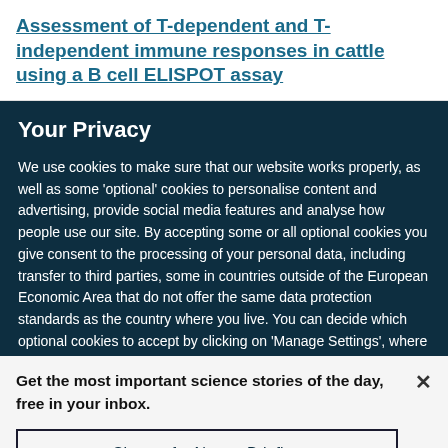Assessment of T-dependent and T-independent immune responses in cattle using a B cell ELISPOT assay
Your Privacy
We use cookies to make sure that our website works properly, as well as some ‘optional’ cookies to personalise content and advertising, provide social media features and analyse how people use our site. By accepting some or all optional cookies you give consent to the processing of your personal data, including transfer to third parties, some in countries outside of the European Economic Area that do not offer the same data protection standards as the country where you live. You can decide which optional cookies to accept by clicking on ‘Manage Settings’, where you can
Get the most important science stories of the day, free in your inbox.
Sign up for Nature Briefing